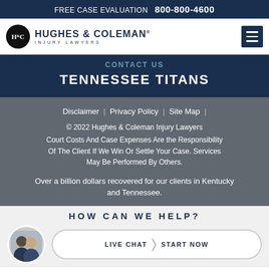FREE CASE EVALUATION   800-800-4600
[Figure (logo): Hughes & Coleman Injury Lawyers logo with oval H&C emblem]
TENNESSEE TITANS
Disclaimer | Privacy Policy | Site Map |
© 2022 Hughes & Coleman Injury Lawyers
Court Costs And Case Expenses Are the Responsibility Of The Client If We Win Or Settle Your Case. Services May Be Performed By Others.
Over a billion dollars recovered for our clients in Kentucky and Tennessee.
HOW CAN WE HELP?
[Figure (photo): Two attorneys photo in circular avatar]
LIVE CHAT  START NOW